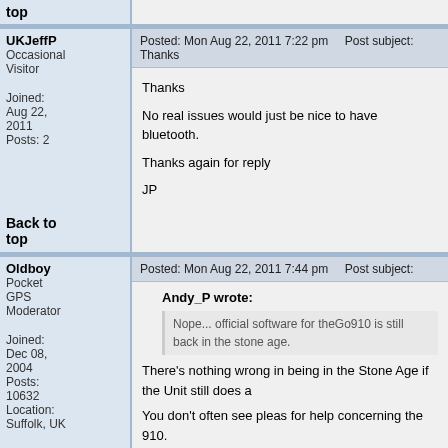Back to top
UKJeffP
Occasional Visitor
Joined: Aug 22, 2011
Posts: 2
Posted: Mon Aug 22, 2011 7:22 pm    Post subject: Thanks
Thanks

No real issues would just be nice to have bluetooth.

Thanks again for reply

JP
Back to top
Oldboy
Pocket GPS Moderator
Joined: Dec 08, 2004
Posts: 10632
Location: Suffolk, UK
Posted: Mon Aug 22, 2011 7:44 pm    Post subject:
Andy_P wrote:
Nope... official software for theGo910 is still back in the stone age.
There's nothing wrong in being in the Stone Age if the Unit still does a

You don't often see pleas for help concerning the 910.

Richard

TT 910 V7.903 (9183/081205) OS:2344
Europe version 1045.10005
TT Via 125 App 12.075